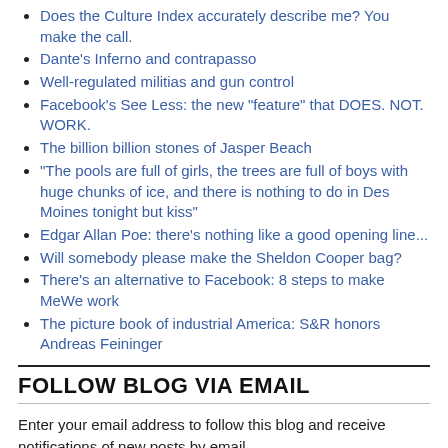Does the Culture Index accurately describe me? You make the call.
Dante's Inferno and contrapasso
Well-regulated militias and gun control
Facebook's See Less: the new "feature" that DOES. NOT. WORK.
The billion billion stones of Jasper Beach
"The pools are full of girls, the trees are full of boys with huge chunks of ice, and there is nothing to do in Des Moines tonight but kiss"
Edgar Allan Poe: there's nothing like a good opening line...
Will somebody please make the Sheldon Cooper bag?
There's an alternative to Facebook: 8 steps to make MeWe work
The picture book of industrial America: S&R honors Andreas Feininger
FOLLOW BLOG VIA EMAIL
Enter your email address to follow this blog and receive notifications of new posts by email.